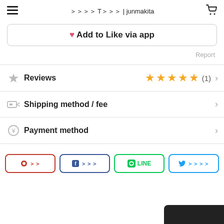≡  ？？？？ T？？？ | junmakita  🛒
❤ Add to Like via app
Report
Reviews ★★★★★ (1)
Shipping method / fee
Payment method
Pinterest share | Facebook share | LINE | Twitter share